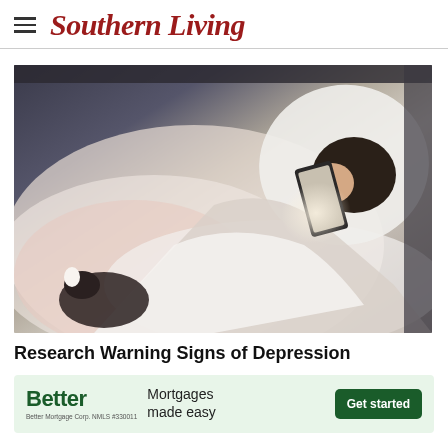Southern Living
[Figure (photo): Aerial view of a woman lying in bed using a smartphone, illuminated by the phone screen glow, with a small dog tucked beside her under white and pink bedding]
Research Warning Signs of Depression
[Figure (other): Advertisement banner for Better mortgages: 'Better Mortgages made easy' with a green 'Get started' button. Better Mortgage Corp. NMLS #330011]